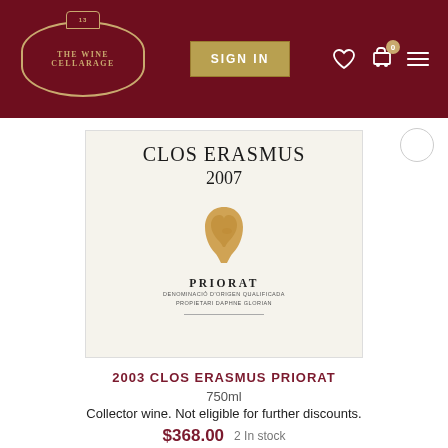[Figure (logo): The Wine Cellarage logo in an ornate frame on dark red background with Sign In button and navigation icons]
[Figure (photo): Clos Erasmus 2007 Priorat wine bottle label showing a golden silhouette profile face, text: CLOS ERASMUS 2007, PRIORAT, DENOMINACIO D'ORIGEN QUALIFICADA, PROPRETARI DAPHNE GLORIAN]
2003 CLOS ERASMUS PRIORAT
750ml
Collector wine. Not eligible for further discounts.
$368.00   2 In stock
ADD TO CART